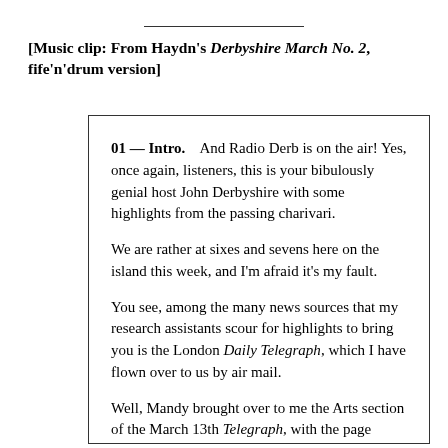[Music clip: From Haydn's Derbyshire March No. 2, fife'n'drum version]
01 — Intro.    And Radio Derb is on the air! Yes, once again, listeners, this is your bibulously genial host John Derbyshire with some highlights from the passing charivari.

We are rather at sixes and sevens here on the island this week, and I'm afraid it's my fault.

You see, among the many news sources that my research assistants scour for highlights to bring you is the London Daily Telegraph, which I have flown over to us by air mail.

Well, Mandy brought over to me the Arts section of the March 13th Telegraph, with the page turned to a